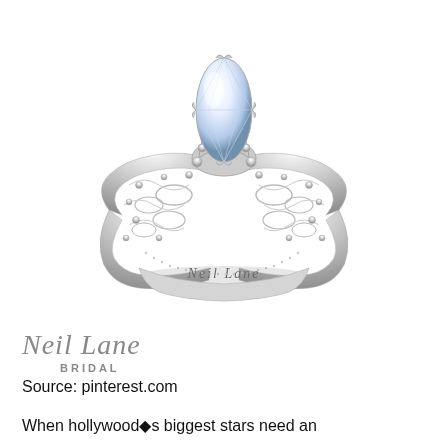[Figure (photo): A Neil Lane Bridal engagement ring with a marquise-cut diamond center stone in a vintage-style ornate white gold or platinum setting with milgrain detailing and small accent diamonds along the band. The ring band is engraved with 'Neil Lane' in script on the inside.]
Neil Lane
BRIDAL
Source: pinterest.com
When hollywood�s biggest stars need an